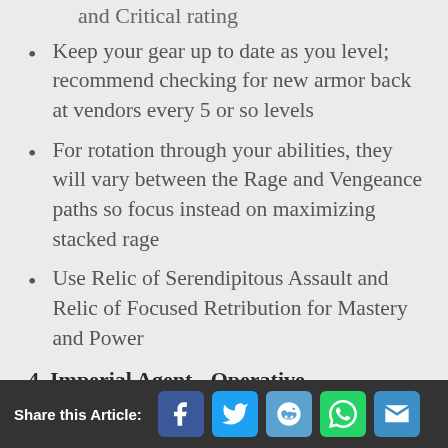and Critical rating
Keep your gear up to date as you level; recommend checking for new armor back at vendors every 5 or so levels
For rotation through your abilities, they will vary between the Rage and Vengeance paths so focus instead on maximizing stacked rage
Use Relic of Serendipitous Assault and Relic of Focused Retribution for Mastery and Power
4. Imperial Agent - Operative
Share this Article: